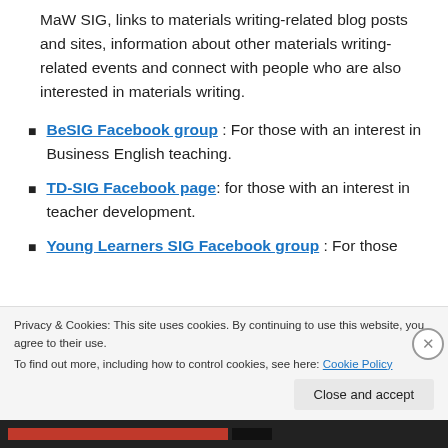MaW SIG, links to materials writing-related blog posts and sites, information about other materials writing-related events and connect with people who are also interested in materials writing.
BeSIG Facebook group : For those with an interest in Business English teaching.
TD-SIG Facebook page: for those with an interest in teacher development.
Young Learners SIG Facebook group : For those
Privacy & Cookies: This site uses cookies. By continuing to use this website, you agree to their use.
To find out more, including how to control cookies, see here: Cookie Policy
Close and accept